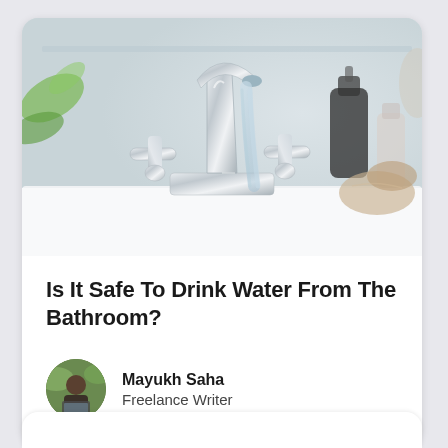[Figure (photo): Close-up photo of a chrome bathroom faucet with water running, set on a white bathtub. Background shows blurred bathroom accessories including a black soap dispenser, tan rolled towels, and green plant leaves.]
Is It Safe To Drink Water From The Bathroom?
[Figure (photo): Circular author avatar photo of Mayukh Saha, a person sitting at a laptop outdoors with greenery in background.]
Mayukh Saha
Freelance Writer